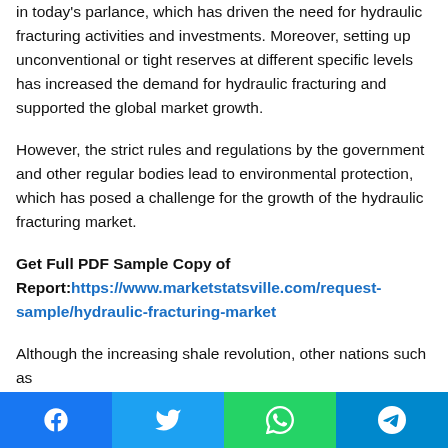in today's parlance, which has driven the need for hydraulic fracturing activities and investments. Moreover, setting up unconventional or tight reserves at different specific levels has increased the demand for hydraulic fracturing and supported the global market growth.
However, the strict rules and regulations by the government and other regular bodies lead to environmental protection, which has posed a challenge for the growth of the hydraulic fracturing market.
Get Full PDF Sample Copy of Report: https://www.marketstatsville.com/request-sample/hydraulic-fracturing-market
Although the increasing shale revolution, other nations such as